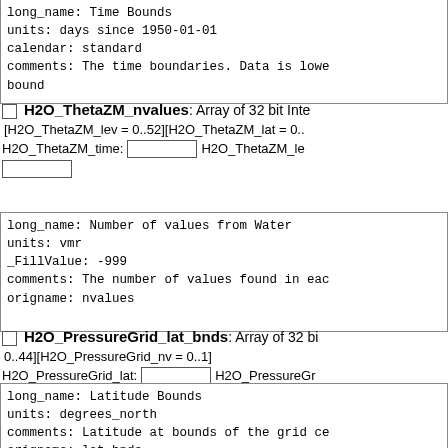long_name: Time Bounds
units: days since 1950-01-01
calendar: standard
comments: The time boundaries. Data is lower bound
H2O_ThetaZM_nvalues: Array of 32 bit Integers [H2O_ThetaZM_lev = 0..52][H2O_ThetaZM_lat = 0..] H2O_ThetaZM_time: H2O_ThetaZM_le
long_name: Number of values from Water
units: vmr
_FillValue: -999
comments: The number of values found in each
origname: nvalues
H2O_PressureGrid_lat_bnds: Array of 32 bit 0..44][H2O_PressureGrid_nv = 0..1] H2O_PressureGrid_lat: H2O_PressureGr
long_name: Latitude Bounds
units: degrees_north
comments: Latitude at bounds of the grid ce
origname: lat_bnds
fullnamepath: /H2O PressureGrid/lat_bnds
H2O_PressureGrid_value: Array of 32 bit Re [H2O_PressureGrid_lev = 0..54][H2O_PressureGrid = 0..44]